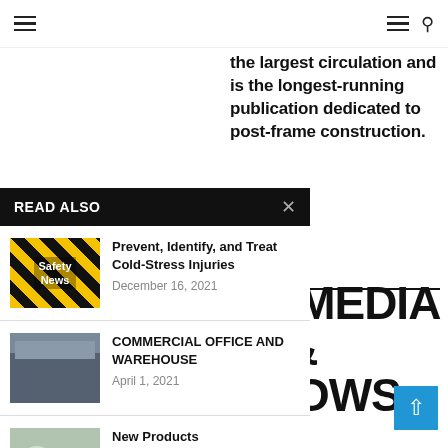Navigation header with menu and search icons
the largest circulation and is the longest-running publication dedicated to post-frame construction.
READ ALSO
[Figure (photo): Safety News thumbnail with yellow and black diagonal stripes and white text reading Safety News]
Prevent, Identify, and Treat Cold-Stress Injuries
December 16, 2021
[Figure (photo): Commercial office and warehouse building exterior photo]
COMMERCIAL OFFICE AND WAREHOUSE
April 1, 2021
[Figure (photo): Workers on construction site, new products]
New Products
January 1, 2021
LL MEDIA IS & SHOWS